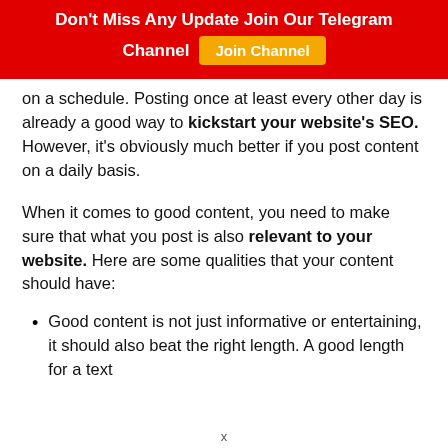Don't Miss Any Update Join Our Telegram Channel  [Join Channel]
on a schedule. Posting once at least every other day is already a good way to kickstart your website's SEO. However, it's obviously much better if you post content on a daily basis.
When it comes to good content, you need to make sure that what you post is also relevant to your website. Here are some qualities that your content should have:
Good content is not just informative or entertaining, it should also beat the right length. A good length for a text